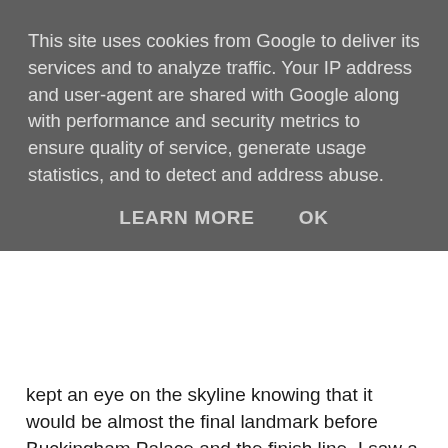This site uses cookies from Google to deliver its services and to analyze traffic. Your IP address and user-agent are shared with Google along with performance and security metrics to ensure quality of service, generate usage statistics, and to detect and address abuse.
LEARN MORE   OK
kept an eye on the skyline knowing that it would be almost the final landmark before Buckingham Palace and the finish line. I saw a tall line behind the trees on the embankment and could have sworn when I realised that it was Cleopatra's Needle instead. A combination of wishful thinking, poor eyesight and not really much of an idea exactly where in London I was meant that I wasn't as close as I'd hoped.
However, tall shape behind the trees turned into Big Ben and the Houses of Parliament and a sharp right took me into the final stretch. Although this section was over within 5 minutes, it felt like 15 … I just had to hold on and keep running. I completely missed Buckingham Palace – how? How? - instead focusing on the red signs each giving a distance to